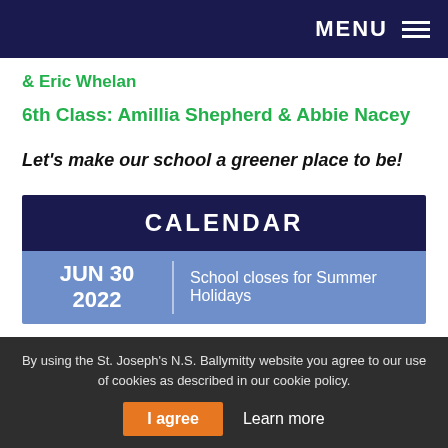MENU
& Eric Whelan
6th Class: Amillia Shepherd & Abbie Nacey
Let's make our school a greener place to be!
CALENDAR
| Date | Event |
| --- | --- |
| JUN 30 2022 | School closes for Summer Holidays |
By using the St. Joseph's N.S. Ballymitty website you agree to our use of cookies as described in our cookie policy.
I agree   Learn more